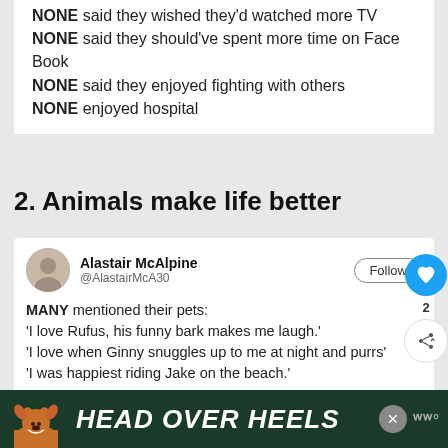NONE said they wished they'd watched more TV
NONE said they should've spent more time on Face Book
NONE said they enjoyed fighting with others
NONE enjoyed hospital
2. Animals make life better
[Figure (screenshot): Tweet by Alastair McAlpine (@AlastairMcA30) with Follow button and engagement icons. Tweet text: MANY mentioned their pets: 'I love Rufus, his funny bark makes me laugh.' 'I love when Ginny snuggles up to me at night and purrs' 'I was happiest riding Jake on the beach.']
[Figure (infographic): Advertisement banner at bottom: dark green background with dog illustration on left and bold italic white text 'HEAD OVER HEELS', close X button, and W logo on right]